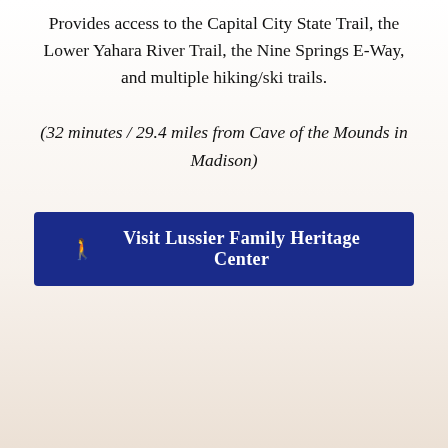Provides access to the Capital City State Trail, the Lower Yahara River Trail, the Nine Springs E-Way, and multiple hiking/ski trails.
(32 minutes / 29.4 miles from Cave of the Mounds in Madison)
🚶 Visit Lussier Family Heritage Center